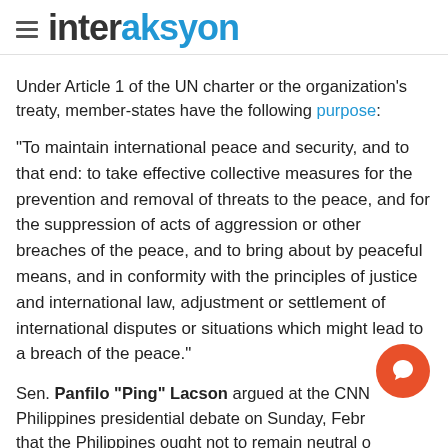interaksyon
Under Article 1 of the UN charter or the organization's treaty, member-states have the following purpose:
"To maintain international peace and security, and to that end: to take effective collective measures for the prevention and removal of threats to the peace, and for the suppression of acts of aggression or other breaches of the peace, and to bring about by peaceful means, and in conformity with the principles of justice and international law, adjustment or settlement of international disputes or situations which might lead to a breach of the peace."
Sen. Panfilo "Ping" Lacson argued at the CNN Philippines presidential debate on Sunday, February 27, that the Philippines ought not to remain neutral on Russia's belligerence.